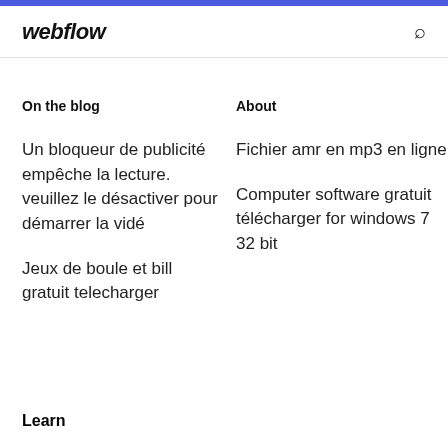webflow
On the blog
About
Un bloqueur de publicité empêche la lecture. veuillez le désactiver pour démarrer la vidé
Fichier amr en mp3 en ligne
Computer software gratuit télécharger for windows 7 32 bit
Jeux de boule et bill gratuit telecharger
Learn